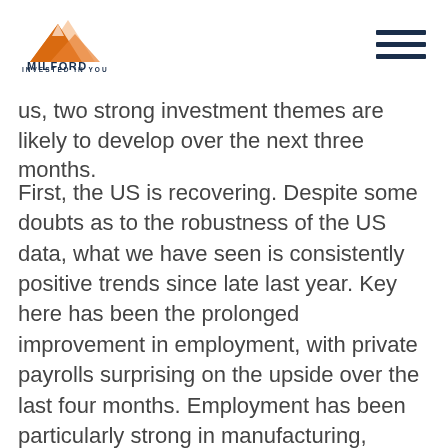MILFORD — INVESTED IN YOU
us, two strong investment themes are likely to develop over the next three months.
First, the US is recovering. Despite some doubts as to the robustness of the US data, what we have seen is consistently positive trends since late last year. Key here has been the prolonged improvement in employment, with private payrolls surprising on the upside over the last four months. Employment has been particularly strong in manufacturing, where a lower USD has encouraged corporates to return from higher currency regions in Europe and Asia. This has seen a